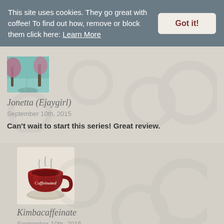This site uses cookies. They go great with coffee! To find out how, remove or block them click here: Learn More
Got it!
[Figure (photo): Avatar image of Jonetta (Ejaygirl) - misty autumn trees with pink foliage]
Jonetta (Ejaygirl)
September 10th, 2015
Can't wait to start this series! Great review.
[Figure (illustration): Avatar image of Kimbacaffeinate - a dark red coffee cup with steam and the word 'Caffeinated' on it]
Kimbacaffeinate
September 10th, 2015